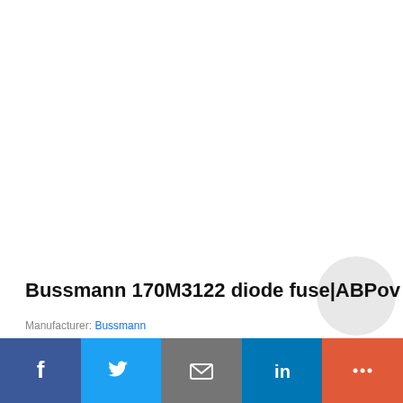Bussmann 170M3122 diode fuse|ABPov
Manufacturer: Bussmann